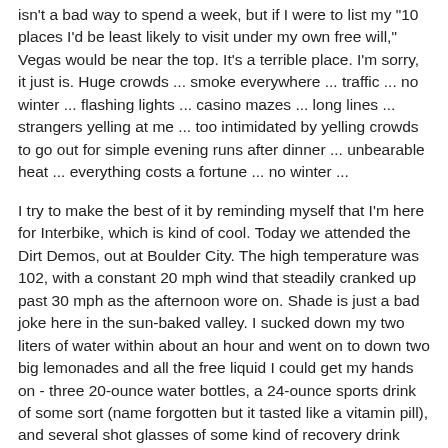isn't a bad way to spend a week, but if I were to list my "10 places I'd be least likely to visit under my own free will," Vegas would be near the top. It's a terrible place. I'm sorry, it just is. Huge crowds ... smoke everywhere ... traffic ... no winter ... flashing lights ... casino mazes ... long lines ... strangers yelling at me ... too intimidated by yelling crowds to go out for simple evening runs after dinner ... unbearable heat ... everything costs a fortune ... no winter ...
I try to make the best of it by reminding myself that I'm here for Interbike, which is kind of cool. Today we attended the Dirt Demos, out at Boulder City. The high temperature was 102, with a constant 20 mph wind that steadily cranked up past 30 mph as the afternoon wore on. Shade is just a bad joke here in the sun-baked valley. I sucked down my two liters of water within about an hour and went on to down two big lemonades and all the free liquid I could get my hands on - three 20-ounce water bottles, a 24-ounce sports drink of some sort (name forgotten but it tasted like a vitamin pill), and several shot glasses of some kind of recovery drink (also gross.)